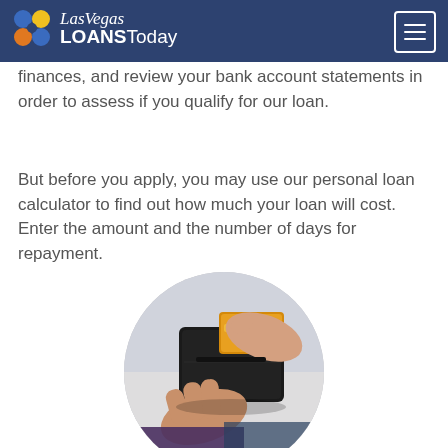Las Vegas LOANSToday
finances, and review your bank account statements in order to assess if you qualify for our loan.
But before you apply, you may use our personal loan calculator to find out how much your loan will cost. Enter the amount and the number of days for repayment.
[Figure (photo): Circular cropped photo of a person's hands holding an open black leather wallet with a credit card being removed, viewed from above]